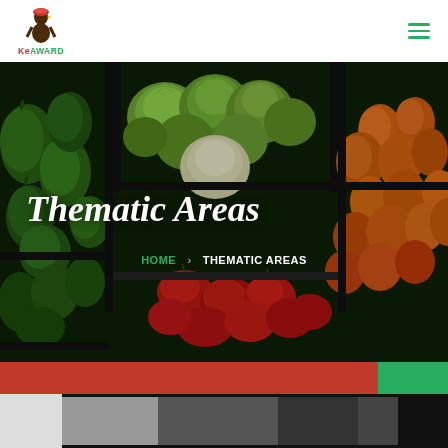[Figure (logo): KeAWARD logo with illustrated woman figure and text]
[Figure (photo): Market stall hero image with colorful vegetables: green peppers, cabbages, orange peppers, and red peppers]
Thematic Areas
HOME > THEMATIC AREAS
[Figure (photo): Partial bottom photo strip showing another image]